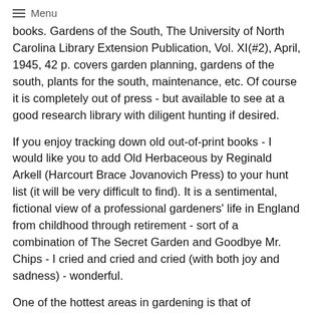≡ Menu
books. Gardens of the South, The University of North Carolina Library Extension Publication, Vol. XI(#2), April, 1945, 42 p. covers garden planning, gardens of the south, plants for the south, maintenance, etc. Of course it is completely out of press - but available to see at a good research library with diligent hunting if desired.
If you enjoy tracking down old out-of-print books - I would like you to add Old Herbaceous by Reginald Arkell (Harcourt Brace Jovanovich Press) to your hunt list (it will be very difficult to find). It is a sentimental, fictional view of a professional gardeners' life in England from childhood through retirement - sort of a combination of The Secret Garden and Goodbye Mr. Chips - I cried and cried and cried (with both joy and sadness) - wonderful.
One of the hottest areas in gardening is that of